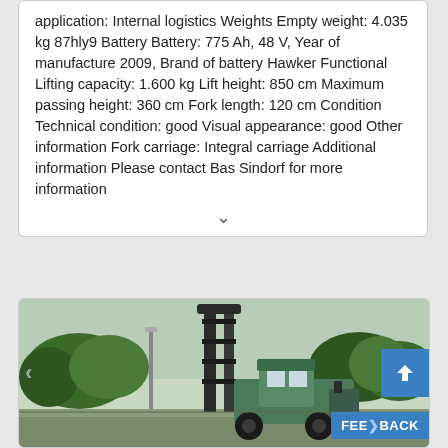application: Internal logistics Weights Empty weight: 4.035 kg 87hly9 Battery Battery: 775 Ah, 48 V, Year of manufacture 2009, Brand of battery Hawker Functional Lifting capacity: 1.600 kg Lift height: 850 cm Maximum passing height: 360 cm Fork length: 120 cm Condition Technical condition: good Visual appearance: good Other information Fork carriage: Integral carriage Additional information Please contact Bas Sindorf for more information
[Figure (photo): Photo of a forklift (reach truck) outdoors with trees in the background. The machine is green/teal colored with a tall mast assembly. Navigation arrows visible on left and right sides.]